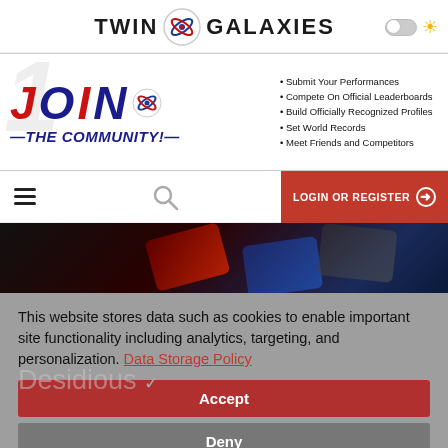[Figure (logo): Twin Galaxies logo with text and orbital icon]
[Figure (infographic): Join the Community banner ad with bullet points: Submit Your Performances, Compete On Official Leaderboards, Build Officially Recognized Profiles, Set World Records, Meet Friends and Competitors]
[Figure (screenshot): Navigation bar with hamburger menu, search icon, and LOGIN OR REGISTER button]
[Figure (photo): Hero image showing dark keyboard/gaming cards background]
This website stores data such as cookies to enable important site functionality including analytics, targeting, and personalization. Data Storage Policy
[Figure (screenshot): Accept and Deny cookie consent buttons with Desidious username visible in background]
PROFILE    ACTIVITY